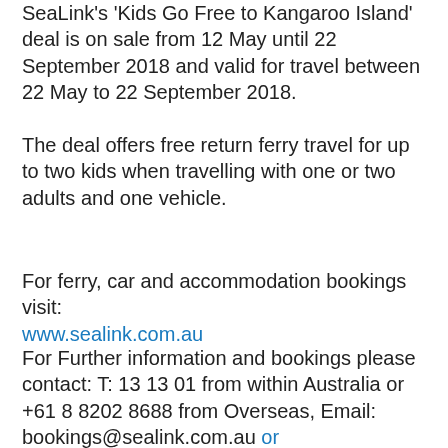SeaLink's 'Kids Go Free to Kangaroo Island' deal is on sale from 12 May until 22 September 2018 and valid for travel between 22 May to 22 September 2018.
The deal offers free return ferry travel for up to two kids when travelling with one or two adults and one vehicle.
For ferry, car and accommodation bookings visit:
www.sealink.com.au
For Further information and bookings please contact: T: 13 13 01 from within Australia or +61 8 8202 8688 from Overseas, Email: bookings@sealink.com.au or Visit:www.sealink.com.au
rodeime at 15:16
Share
Thursday, 10 May 2018